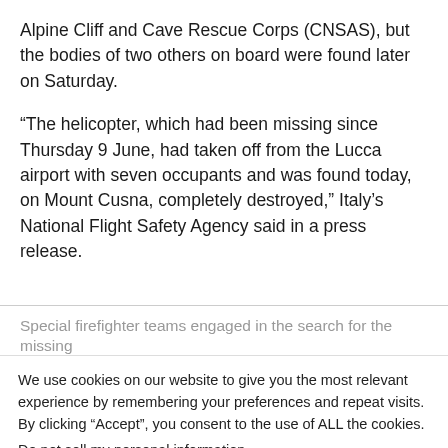Alpine Cliff and Cave Rescue Corps (CNSAS), but the bodies of two others on board were found later on Saturday.
“The helicopter, which had been missing since Thursday 9 June, had taken off from the Lucca airport with seven occupants and was found today, on Mount Cusna, completely destroyed,” Italy’s National Flight Safety Agency said in a press release.
Special firefighter teams engaged in the search for the missing
We use cookies on our website to give you the most relevant experience by remembering your preferences and repeat visits. By clicking “Accept”, you consent to the use of ALL the cookies.
Do not sell my personal information.